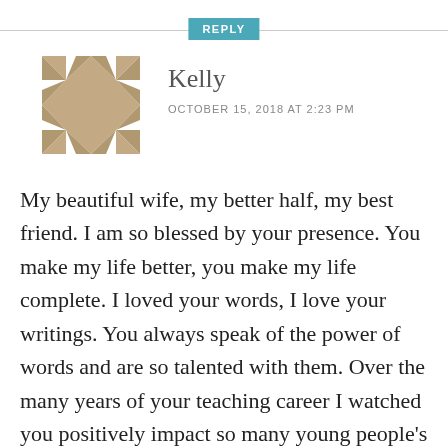REPLY
[Figure (illustration): Geometric quilt-pattern avatar icon in beige/tan colors, made of triangles and squares arranged in a symmetric pattern]
Kelly
OCTOBER 15, 2018 AT 2:23 PM
My beautiful wife, my better half, my best friend. I am so blessed by your presence. You make my life better, you make my life complete. I loved your words, I love your writings. You always speak of the power of words and are so talented with them. Over the many years of your teaching career I watched you positively impact so many young people's lives. Now that you're retired you sometimes struggle